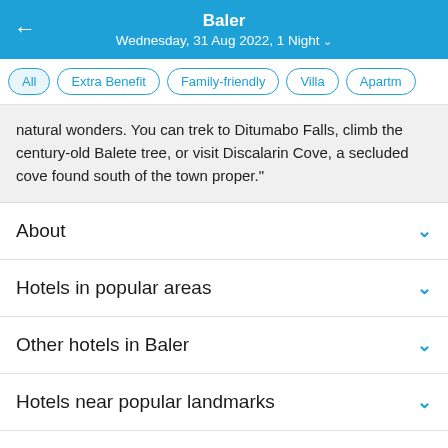Baler
Wednesday, 31 Aug 2022, 1 Night
All | Extra Benefit | Family-friendly | Villa | Apartm...
natural wonders. You can trek to Ditumabo Falls, climb the century-old Balete tree, or visit Discalarin Cove, a secluded cove found south of the town proper."
About
Hotels in popular areas
Other hotels in Baler
Hotels near popular landmarks
Hotels in other areas